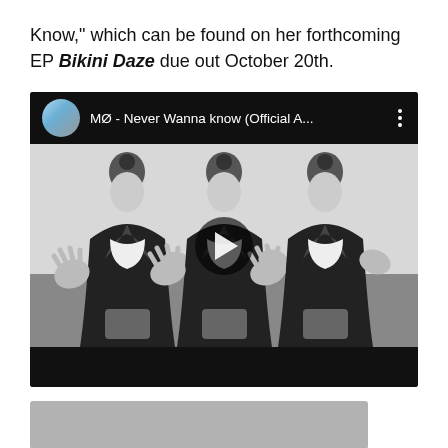Know," which can be found on her forthcoming EP Bikini Daze due out October 20th.
[Figure (screenshot): Embedded YouTube video player showing MØ - Never Wanna know (Official A...) with a black and white thumbnail of three identical figures of a woman in a leather jacket with hands raised, and a play button in the center.]